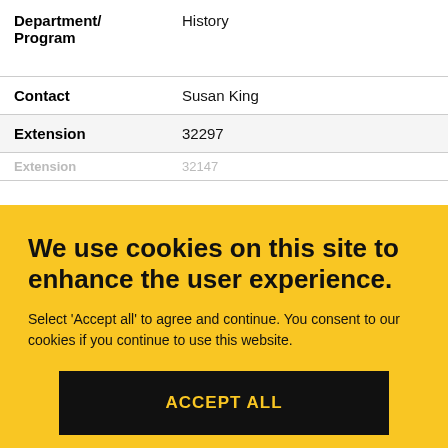| Field | Value |
| --- | --- |
| Department/ Program | History |
| Contact | Susan King |
| Extension | 32297 |
| Extension | 32147 |
We use cookies on this site to enhance the user experience. Select 'Accept all' to agree and continue. You consent to our cookies if you continue to use this website.